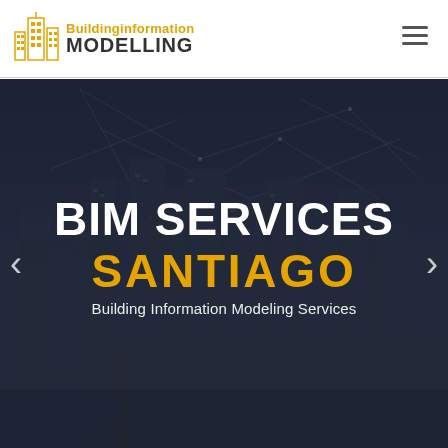[Figure (logo): Building Information Modelling logo with orange building icon and text]
[Figure (photo): Dark blue-toned city skyline with network lines overlay, featuring tall skyscrapers at night/dusk]
BIM SERVICES
SANTIAGO
Building Information Modeling Services